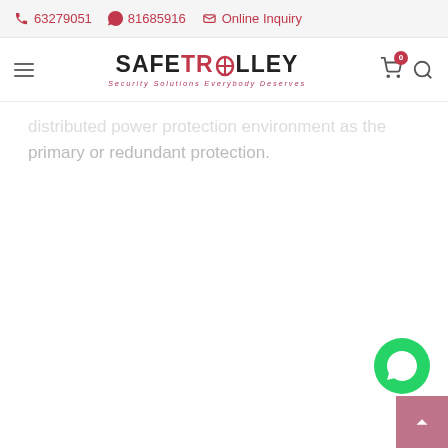☎ 63279051  ⊙ 81685916  ✉ Online Inquiry
[Figure (logo): SafeTrolley logo with tagline 'Security Solutions Everybody Deserves']
...primary or redundant protection.